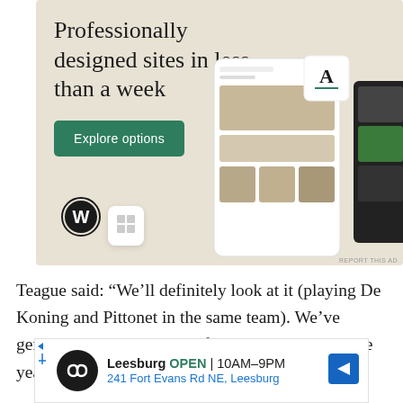[Figure (screenshot): WordPress advertisement banner with beige/cream background. Headline reads 'Professionally designed sites in less than a week' with a green 'Explore options' button, WordPress logo, and website mockup screenshots on the right side.]
Teague said: “We’ll definitely look at it (playing De Koning and Pittonet in the same team). We’ve generally played three tall forwards throughout the year. There’s a possibility.”
[Figure (infographic): Bottom advertisement banner for Leesburg store. Shows circular logo with infinity symbol, text 'Leesburg OPEN 10AM-9PM' and '241 Fort Evans Rd NE, Leesburg' with a blue navigation arrow icon on the right.]